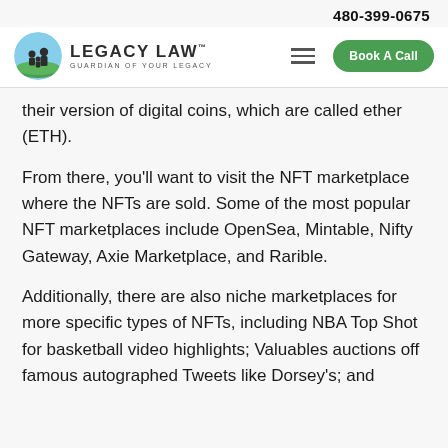480-399-0675
[Figure (logo): Legacy Law logo with circular icon showing family silhouette on green hill, text LEGACY LAW GUARDIAN OF YOUR LEGACY]
their version of digital coins, which are called ether (ETH).
From there, you’ll want to visit the NFT marketplace where the NFTs are sold. Some of the most popular NFT marketplaces include OpenSea, Mintable, Nifty Gateway, Axie Marketplace, and Rarible.
Additionally, there are also niche marketplaces for more specific types of NFTs, including NBA Top Shot for basketball video highlights; Valuables auctions off famous autographed Tweets like Dorsey’s; and